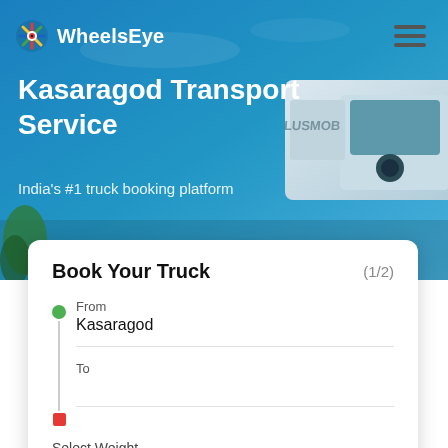[Figure (screenshot): Background photo of a blue sky with a white truck visible on the right side]
WheelsEye
Kasaragod Transport Service
India's #1 truck booking platform
Book Your Truck
(1/2)
From
Kasaragod
To
Select Weight